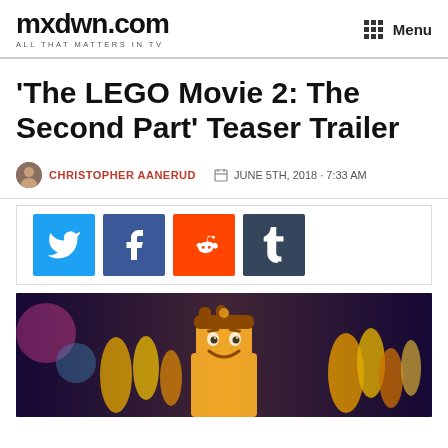mxdwn.com — ALL THAT MATTERS IN TV — Menu
'The LEGO Movie 2: The Second Part' Teaser Trailer
CHRISTOPHER AANERUD — JUNE 5TH, 2018 · 7:33 AM
[Figure (other): Social sharing buttons: Twitter, Facebook, Reddit, Tumblr]
[Figure (photo): LEGO Emmet minifigure smiling surrounded by yellow flame-like LEGO figures, cinematic lighting]